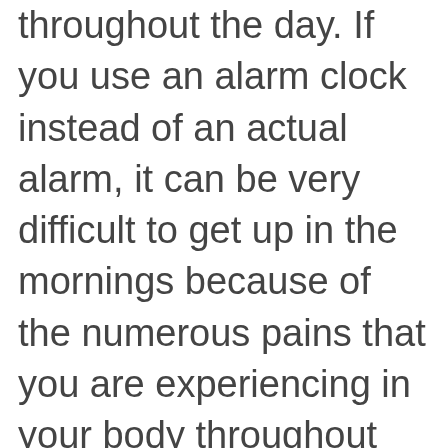throughout the day. If you use an alarm clock instead of an actual alarm, it can be very difficult to get up in the mornings because of the numerous pains that you are experiencing in your body throughout the day.